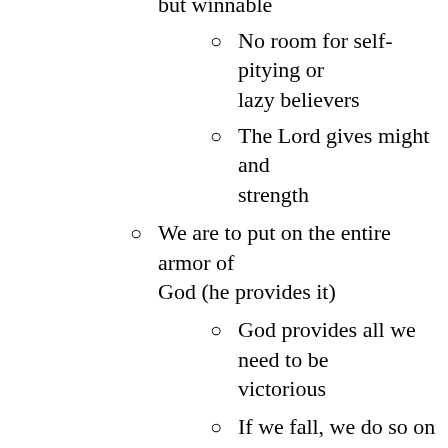but winnable
No room for self-pitying or lazy believers
The Lord gives might and strength
We are to put on the entire armor of God (he provides it)
God provides all we need to be victorious
If we fall, we do so on our own (Jam. 1:12-15)